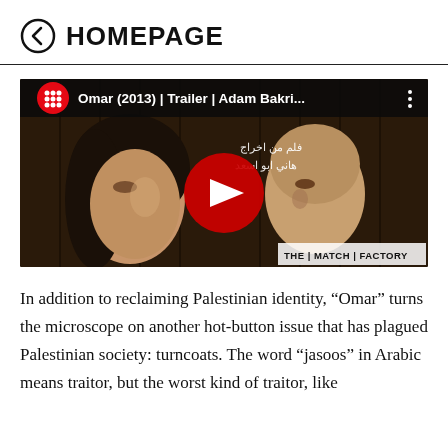← HOMEPAGE
[Figure (screenshot): YouTube video thumbnail for 'Omar (2013) | Trailer | Adam Bakri...' showing two people facing each other painted on a concrete wall, with YouTube play button overlay and 'THE MATCH FACTORY' watermark in bottom right.]
In addition to reclaiming Palestinian identity, “Omar” turns the microscope on another hot-button issue that has plagued Palestinian society: turncoats. The word “jasoos” in Arabic means traitor, but the worst kind of traitor, like